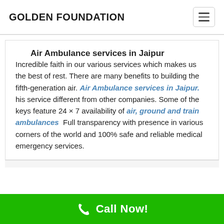GOLDEN FOUNDATION
Air Ambulance services in Jaipur
Incredible faith in our various services which makes us the best of rest. There are many benefits to building the fifth-generation air. Air Ambulance services in Jaipur. his service different from other companies. Some of the keys feature 24 × 7 availability of air, ground and train ambulances Full transparency with presence in various corners of the world and 100% safe and reliable medical emergency services.
Call Now!